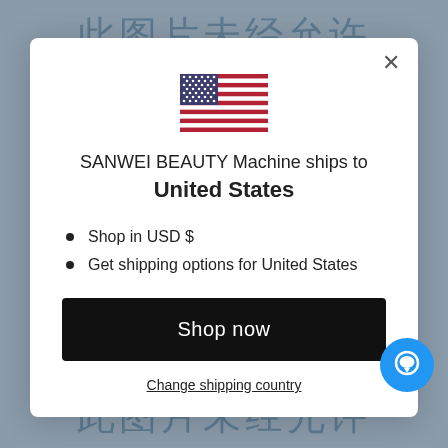[Figure (screenshot): Website modal popup showing SANWEI BEAUTY Machine shipping to United States, with US flag, bullet points about USD shopping and shipping options, a Shop now button, and a Change shipping country link. Background shows blurred Chinese text.]
SANWEI BEAUTY Machine ships to United States
Shop in USD $
Get shipping options for United States
Shop now
Change shipping country